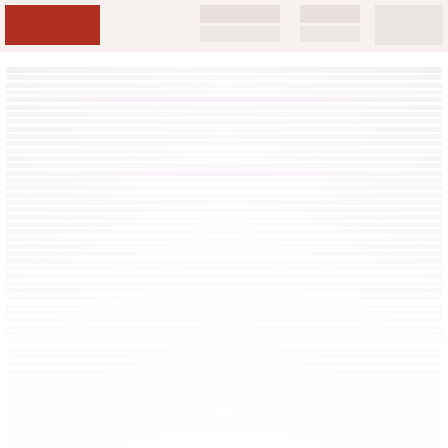Government document page header with logo and navigation
Document body text content — heavily faded/low contrast, largely illegible in source image. Content appears to be a multi-column government or policy document with dense paragraph text.